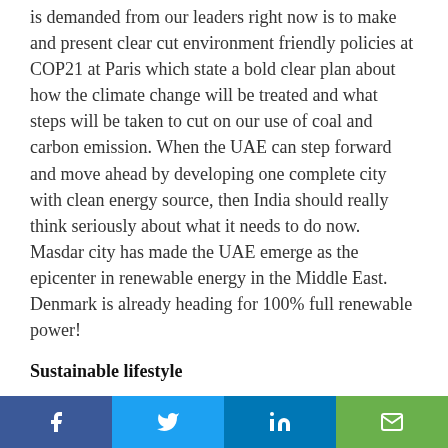is demanded from our leaders right now is to make and present clear cut environment friendly policies at COP21 at Paris which state a bold clear plan about how the climate change will be treated and what steps will be taken to cut on our use of coal and carbon emission. When the UAE can step forward and move ahead by developing one complete city with clean energy source, then India should really think seriously about what it needs to do now. Masdar city has made the UAE emerge as the epicenter in renewable energy in the Middle East. Denmark is already heading for 100% full renewable power!
Sustainable lifestyle
India demands a change now, and it should involve not only the government but its people as well. There is a strong need that people must move towards a sustainable lifestyle. They can cut their carbon foot-
[Figure (other): Social share bar with Facebook, Twitter, LinkedIn, and email buttons]